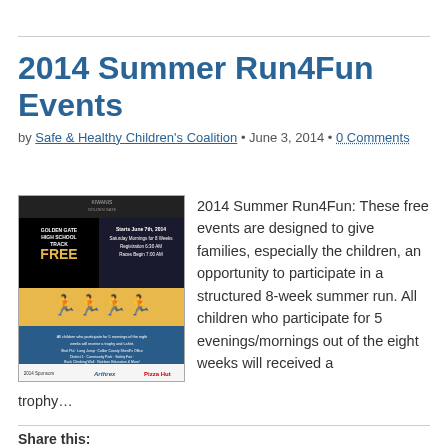2014 Summer Run4Fun Events
by Safe & Healthy Children's Coalition • June 3, 2014 • 0 Comments
[Figure (photo): Flyer for 2014 Summer Run4Fun event at Golden Gate High School Track. Free event starting June 7th, 2014. Saturday Mornings for 8 Weeks. Registration 6:30 AM, Races Begin 7:00 AM. Sponsors include Arthrex and Pizza Hut.]
2014 Summer Run4Fun: These free events are designed to give families, especially the children, an opportunity to participate in a structured 8-week summer run. All children who participate for 5 evenings/mornings out of the eight weeks will received a trophy…
Read more →
Share this: